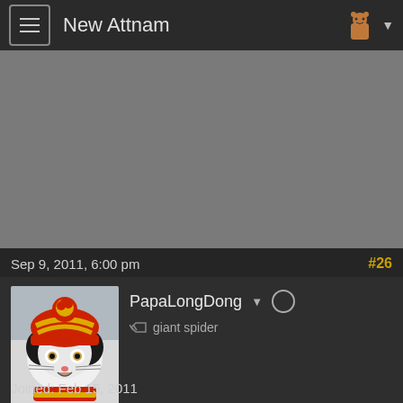New Attnam
[Figure (screenshot): Gray content area, likely an image or banner that failed to load]
Sep 9, 2011, 6:00 pm
#26
[Figure (photo): Cat wearing a red and yellow knit hat with pompom, looking surprised, black and white cat]
PapaLongDong
giant spider
Joined: Feb 15, 2011